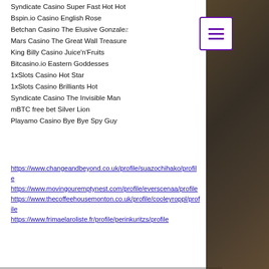Syndicate Casino Super Fast Hot Hot
Bspin.io Casino English Rose
Betchan Casino The Elusive Gonzalez
Mars Casino The Great Wall Treasure
King Billy Casino Juice'n'Fruits
Bitcasino.io Eastern Goddesses
1xSlots Casino Hot Star
1xSlots Casino Brilliants Hot
Syndicate Casino The Invisible Man
mBTC free bet Silver Lion
Playamo Casino Bye Bye Spy Guy
https://www.changeandbeyond.co.uk/profile/suazochihako/profile
https://www.movingouremptynest.com/profile/everscenaa/profile
https://www.thecoffeehousemonton.co.uk/profile/cooleyroppl/profile
https://www.frimaelaroliste.fr/profile/perinkuritzs/profile